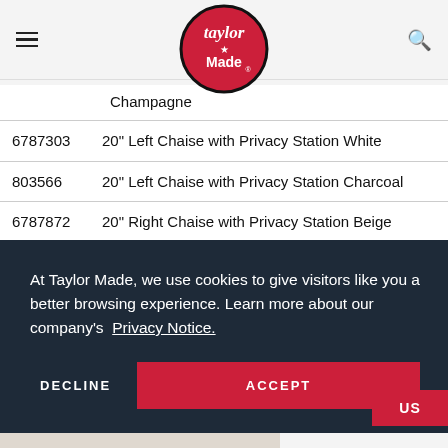[Figure (logo): Taylor Made logo — circular red badge with white script text 'Taylor' above a star and 'Made' in bold white sans-serif, black circular border]
| SKU | Description |
| --- | --- |
|  | Champagne |
| 6787303 | 20" Left Chaise with Privacy Station White |
| 803566 | 20" Left Chaise with Privacy Station Charcoal |
| 6787872 | 20" Right Chaise with Privacy Station Beige |
|  | ...oal |
At Taylor Made, we use cookies to give visitors like you a better browsing experience. Learn more about our company's Privacy Notice.
DECLINE   ACCEPT